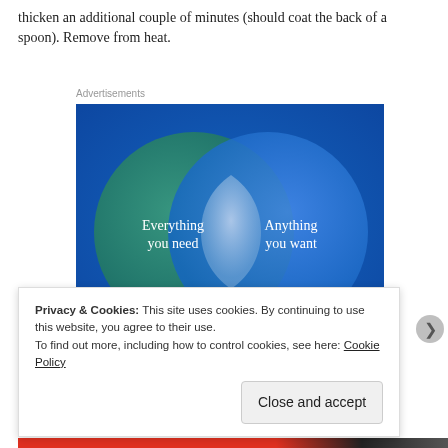thicken an additional couple of minutes (should coat the back of a spoon). Remove from heat.
Advertisements
[Figure (infographic): Venn diagram advertisement with two overlapping circles on a blue-green gradient background. Left circle (teal/green): 'Everything you need'. Right circle (blue): 'Anything you want'. Overlapping region is a lighter blue-white color.]
Privacy & Cookies: This site uses cookies. By continuing to use this website, you agree to their use.
To find out more, including how to control cookies, see here: Cookie Policy
Close and accept